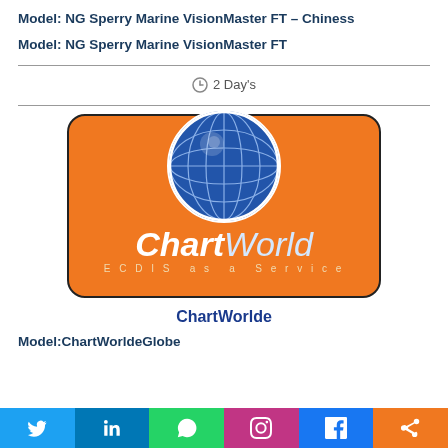Model: NG Sperry Marine VisionMaster FT – Chiness
Model: NG Sperry Marine VisionMaster FT
2 Day's
[Figure (logo): ChartWorlde logo – orange rounded rectangle with blue globe icon above, 'ChartWorld' text in white/light blue italic, tagline 'ECDIS as a Service']
ChartWorlde
Model:ChartWorldeGlobe